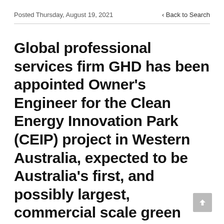Posted Thursday, August 19, 2021    < Back to Search
Global professional services firm GHD has been appointed Owner's Engineer for the Clean Energy Innovation Park (CEIP) project in Western Australia, expected to be Australia's first, and possibly largest, commercial scale green hydrogen supply chain project.